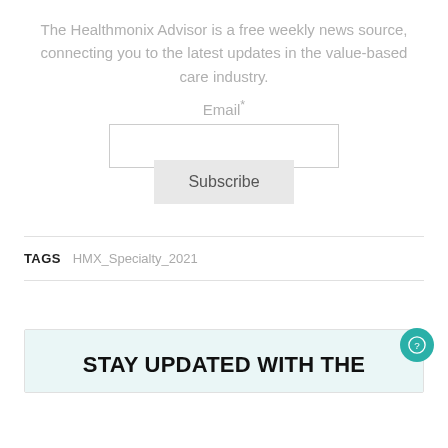The Healthmonix Advisor is a free weekly news source, connecting you to the latest updates in the value-based care industry.
Email*
Subscribe
TAGS   HMX_Specialty_2021
STAY UPDATED WITH THE